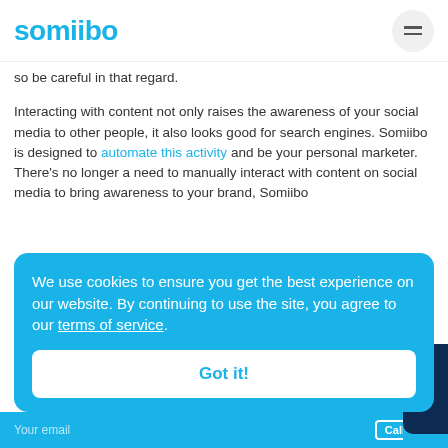somiibo
so be careful in that regard.
Interacting with content not only raises the awareness of your social media to other people, it also looks good for search engines. Somiibo is designed to automate this activity and be your personal marketer. There’s no longer a need to manually interact with content on social media to bring awareness to your brand, Somiibo
We use cookies to ensure you get the best experience on our website. By continuing to use the site, you agree to our terms of service.
Got it!